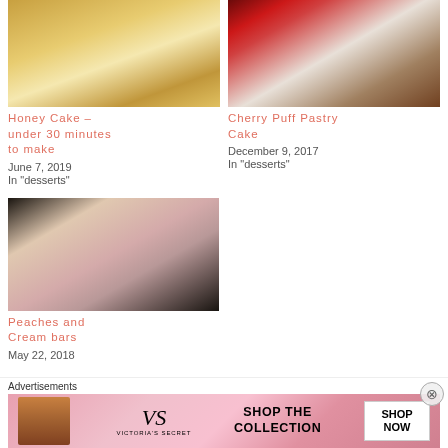[Figure (photo): Honey cake slice on a white plate with pink flowers]
Honey Cake – under 30 minutes to make
June 7, 2019
In "desserts"
[Figure (photo): Cherry puff pastry cake on a plate with red cherry topping]
Cherry Puff Pastry Cake
December 9, 2017
In "desserts"
[Figure (photo): Peaches and cream bars cut into squares on a dark tray]
Peaches and Cream bars
May 22, 2018
Advertisements
[Figure (photo): Victoria's Secret advertisement banner - Shop The Collection - Shop Now]